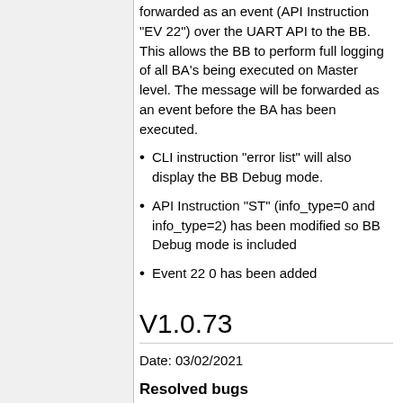forwarded as an event (API Instruction "EV 22") over the UART API to the BB. This allows the BB to perform full logging of all BA's being executed on Master level. The message will be forwarded as an event before the BA has been executed.
CLI instruction "error list" will also display the BB Debug mode.
API Instruction "ST" (info_type=0 and info_type=2) has been modified so BB Debug mode is included
Event 22 0 has been added
V1.0.73
Date: 03/02/2021
Resolved bugs